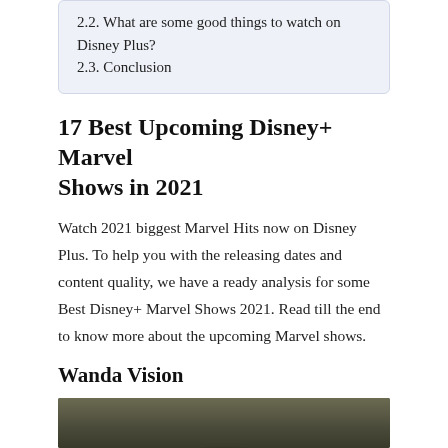2.2. What are some good things to watch on Disney Plus?
2.3. Conclusion
17 Best Upcoming Disney+ Marvel Shows in 2021
Watch 2021 biggest Marvel Hits now on Disney Plus. To help you with the releasing dates and content quality, we have a ready analysis for some Best Disney+ Marvel Shows 2021. Read till the end to know more about the upcoming Marvel shows.
Wanda Vision
[Figure (photo): Partial photo showing what appears to be a character with blonde hair against a dark textured background]